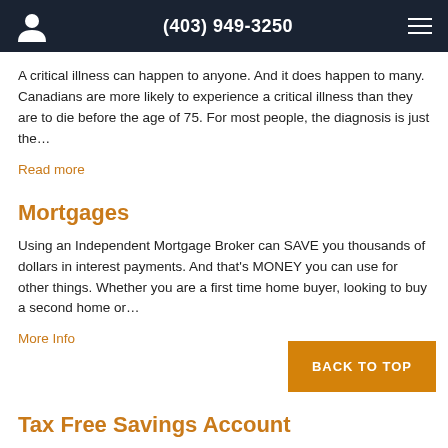(403) 949-3250
A critical illness can happen to anyone. And it does happen to many. Canadians are more likely to experience a critical illness than they are to die before the age of 75. For most people, the diagnosis is just the...
Read more
Mortgages
Using an Independent Mortgage Broker can SAVE you thousands of dollars in interest payments. And that's MONEY you can use for other things. Whether you are a first time home buyer, looking to buy a second home or...
More Info
Tax Free Savings Account